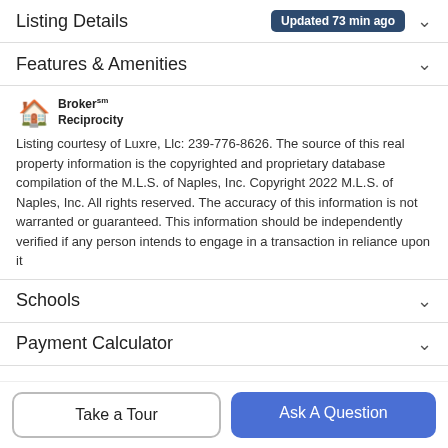Listing Details  Updated 73 min ago
Features & Amenities
[Figure (logo): Broker Reciprocity logo with house icon]
Listing courtesy of Luxre, Llc: 239-776-8626. The source of this real property information is the copyrighted and proprietary database compilation of the M.L.S. of Naples, Inc. Copyright 2022 M.L.S. of Naples, Inc. All rights reserved. The accuracy of this information is not warranted or guaranteed. This information should be independently verified if any person intends to engage in a transaction in reliance upon it
Schools
Payment Calculator
Take a Tour
Ask A Question